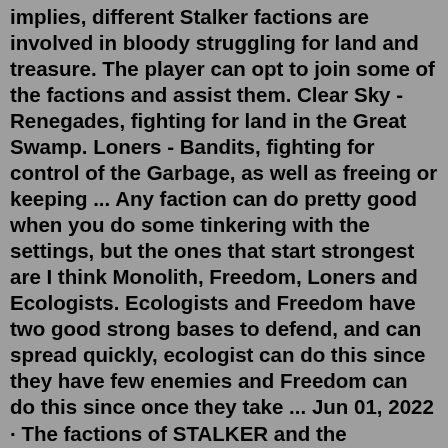implies, different Stalker factions are involved in bloody struggling for land and treasure. The player can opt to join some of the factions and assist them. Clear Sky - Renegades, fighting for land in the Great Swamp. Loners - Bandits, fighting for control of the Garbage, as well as freeing or keeping ... Any faction can do pretty good when you do some tinkering with the settings, but the ones that start strongest are I think Monolith, Freedom, Loners and Ecologists. Ecologists and Freedom have two good strong bases to defend, and can spread quickly, ecologist can do this since they have few enemies and Freedom can do this since once they take ... Jun 01, 2022 · The factions of STALKER and the upcoming STALKER 2: Heart of Chornobyl each have an opposite counterpart. This can be a violent rivalry such as the ideological war between Duty and Freedom or the ... This add-on is one of many weapon packs for "S.T.A.L.K.E.R. Anomaly," and it's perfect for players who find the base game's guns to be a bit lacking in the sound and animation department....To follow up on my Best